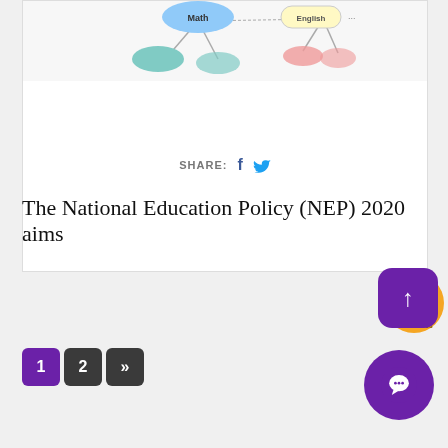[Figure (infographic): Partial view of a mind-map style diagram showing subject bubbles including 'Math' and 'English' connected by lines, in pastel colors (blue, green, pink, yellow)]
SHARE: f [twitter bird icon]
[Figure (logo): Circular orange badge with phone number 1800-266-7102 and text 'WRITE TO US' around a white notepad icon in the center]
The National Education Policy (NEP) 2020 aims
1 2 »
[Figure (infographic): Purple rounded square scroll-to-top button with upward arrow, and purple circle chat button below it]